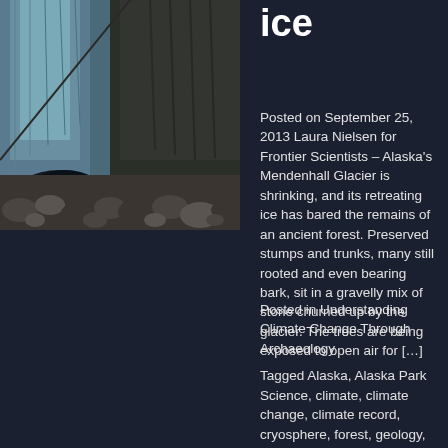ice
[Figure (photo): Photo showing a glacier ice wall with rocky debris and boulders at its base, part of Mendenhall Glacier in Alaska]
Posted on September 25, 2013 Laura Nielsen for Frontier Scientists – Alaska's Mendenhall Glacier is shrinking, and its retreating ice has bared the remains of an ancient forest. Preserved stumps and trunks, many still rooted and even bearing bark, sit in a gravelly mix of stone churned up by the glacier. The trees are being exposed to open air for […]
Posted in Understanding Climate Change Through Archaeology Tagged Alaska, Alaska Park Science, climate, climate change, climate record, cryosphere, forest, geology, glacier, GLIMS, history, ice, Mendenhall Glacier